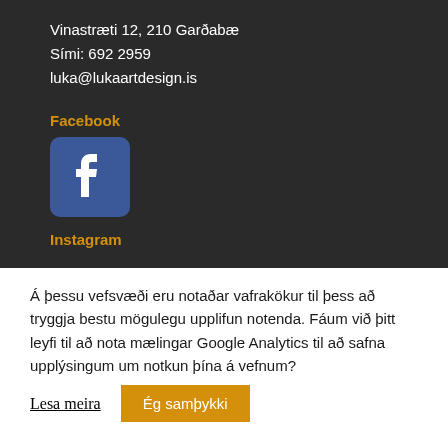Vinastræti 12, 210 Garðabæ
Sími: 692 2959
luka@lukaartdesign.is
Facebook
[Figure (logo): Facebook logo icon — blue rounded square with white 'f' letter]
Instagram
Á þessu vefsvæði eru notaðar vafrakökur til þess að tryggja bestu mögulegu upplifun notenda. Fáum við þitt leyfi til að nota mælingar Google Analytics til að safna upplýsingum um notkun þína á vefnum?
Lesa meira   Ég samþykki